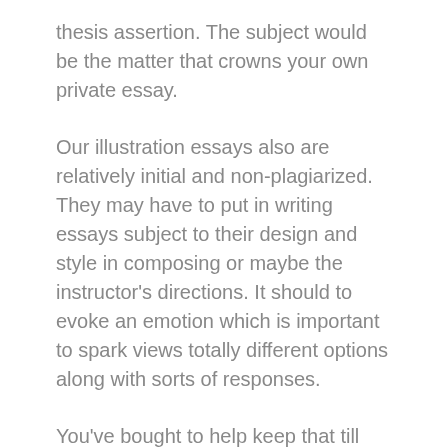thesis assertion. The subject would be the matter that crowns your own private essay.
Our illustration essays also are relatively initial and non-plagiarized. They may have to put in writing essays subject to their design and style in composing or maybe the instructor's directions. It should to evoke an emotion which is important to spark views totally different options along with sorts of responses.
You've bought to help keep that till the summary of the tutorial essay if you happen to contemplate you've got